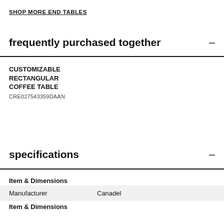SHOP MORE END TABLES
frequently purchased together
CUSTOMIZABLE RECTANGULAR COFFEE TABLE
CRE027543359DAAN
specifications
| Item & Dimensions |  |
| Manufacturer | Canadel |
| Item & Dimensions |  |